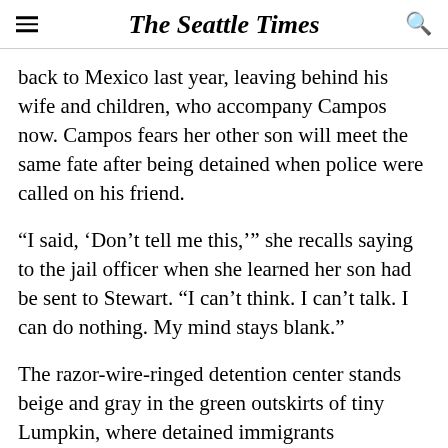The Seattle Times
back to Mexico last year, leaving behind his wife and children, who accompany Campos now. Campos fears her other son will meet the same fate after being detained when police were called on his friend.
“I said, ‘Don’t tell me this,’” she recalls saying to the jail officer when she learned her son had be sent to Stewart. “I can’t think. I can’t talk. I can do nothing. My mind stays blank.”
The razor-wire-ringed detention center stands beige and gray in the green outskirts of tiny Lumpkin, where detained immigrants outnumber residents. Those immigrants are caught in a larger system of immigration courts that are facing unprecedented turmoil from crushing caseloads and shifting